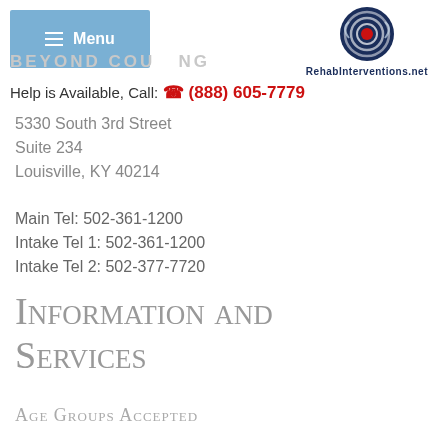Menu | Beyond Counseling | RehabInterventions.net | Help is Available, Call: (888) 605-7779
5330 South 3rd Street
Suite 234
Louisville, KY 40214
Main Tel: 502-361-1200
Intake Tel 1: 502-361-1200
Intake Tel 2: 502-377-7720
Information and Services
Age Groups Accepted